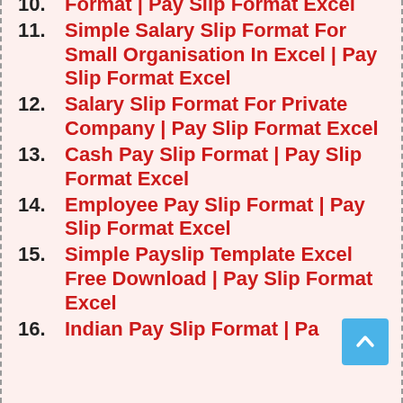10. Private Company Salary Slip Format | Pay Slip Format Excel
11. Simple Salary Slip Format For Small Organisation In Excel | Pay Slip Format Excel
12. Salary Slip Format For Private Company | Pay Slip Format Excel
13. Cash Pay Slip Format | Pay Slip Format Excel
14. Employee Pay Slip Format | Pay Slip Format Excel
15. Simple Payslip Template Excel Free Download | Pay Slip Format Excel
16. Indian Pay Slip Format | Pa...